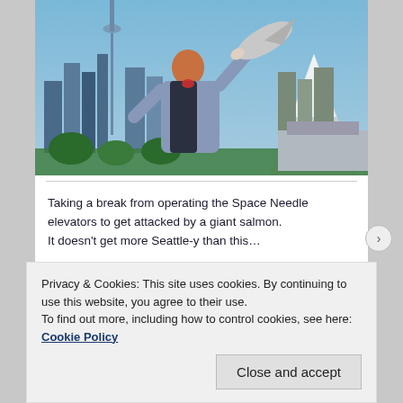[Figure (photo): A woman holding up a large salmon fish with the Seattle skyline (Space Needle visible) and Mount Rainier in the background. Humorous photomontage.]
Taking a break from operating the Space Needle elevators to get attacked by a giant salmon. It doesn’t get more Seattle-y than this…
Privacy & Cookies: This site uses cookies. By continuing to use this website, you agree to their use.
To find out more, including how to control cookies, see here: Cookie Policy